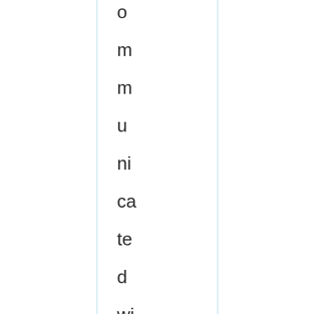o mm u ni ca te d wi th m y 2 n d hi